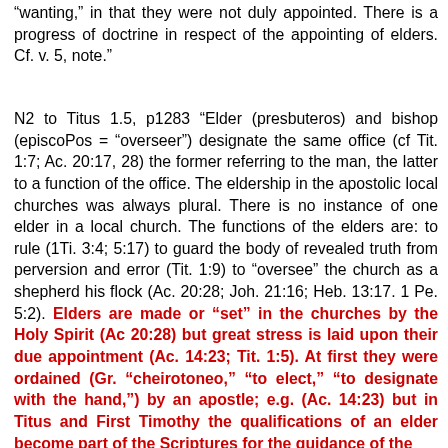"wanting," in that they were not duly appointed. There is a progress of doctrine in respect of the appointing of elders. Cf. v. 5, note."
N2 to Titus 1.5, p1283 "Elder (presbuteros) and bishop (episcoPos = "overseer") designate the same office (cf Tit. 1:7; Ac. 20:17, 28) the former referring to the man, the latter to a function of the office. The eldership in the apostolic local churches was always plural. There is no instance of one elder in a local church. The functions of the elders are: to rule (1Ti. 3:4; 5:17) to guard the body of revealed truth from perversion and error (Tit. 1:9) to "oversee" the church as a shepherd his flock (Ac. 20:28; Joh. 21:16; Heb. 13:17. 1 Pe. 5:2). Elders are made or "set" in the churches by the Holy Spirit (Ac 20:28) but great stress is laid upon their due appointment (Ac. 14:23; Tit. 1:5). At first they were ordained (Gr. "cheirotoneo," "to elect," "to designate with the hand,") by an apostle; e.g. (Ac. 14:23) but in Titus and First Timothy the qualifications of an elder become part of the Scriptures for the guidance of the